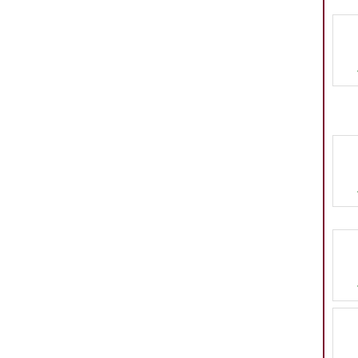Applebee's Guests Raise Fund...
April 13, 2019
View Story
Applebee's Guests Raise Fund... Radicals on 4/13/2019
April 13, 2019
View Story
Applebee's Guests Raise Fund... Lacrosse on 4/13/2019
April 13, 2019
View Story
Applebee's Guests Raise Fund... 4/9/2019
April 9, 2019
View Story
Applebee's Guests Raise Fund... County on 4/7/2019
April 7, 2019
View Story